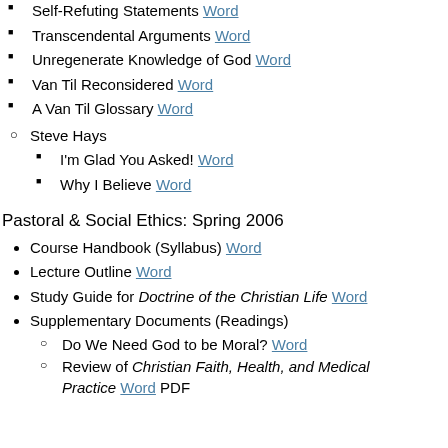Self-Refuting Statements Word
Transcendental Arguments Word
Unregenerate Knowledge of God Word
Van Til Reconsidered Word
A Van Til Glossary Word
Steve Hays
I'm Glad You Asked! Word
Why I Believe Word
Pastoral & Social Ethics: Spring 2006
Course Handbook (Syllabus) Word
Lecture Outline Word
Study Guide for Doctrine of the Christian Life Word
Supplementary Documents (Readings)
Do We Need God to be Moral? Word
Review of Christian Faith, Health, and Medical Practice Word PDF